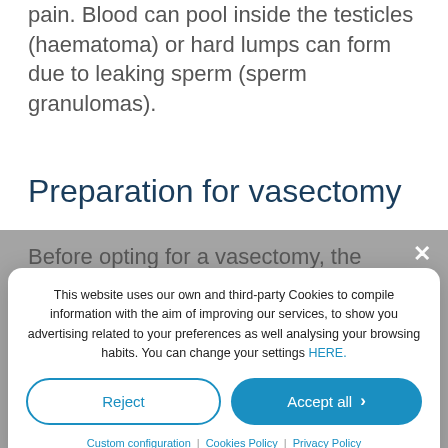pain. Blood can pool inside the testicles (haematoma) or hard lumps can form due to leaking sperm (sperm granulomas).
Preparation for vasectomy
Before opting for a vasectomy, the matter
[Figure (screenshot): Cookie consent modal overlay on a medical website. Contains text about cookie usage with options to Reject, Accept all, Custom configuration, Cookies Policy, and Privacy Policy links.]
p...g